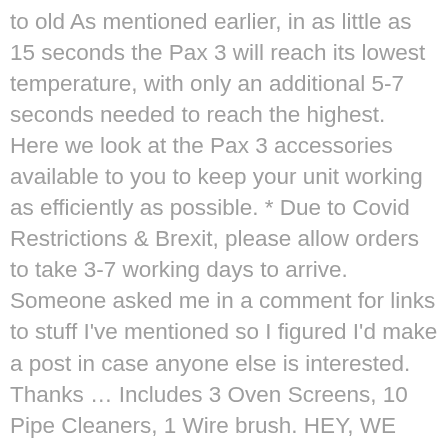to old As mentioned earlier, in as little as 15 seconds the Pax 3 will reach its lowest temperature, with only an additional 5-7 seconds needed to reach the highest. Here we look at the Pax 3 accessories available to you to keep your unit working as efficiently as possible. * Due to Covid Restrictions & Brexit, please allow orders to take 3-7 working days to arrive. Someone asked me in a comment for links to stuff I've mentioned so I figured I'd make a post in case anyone else is interested. Thanks … Includes 3 Oven Screens, 10 Pipe Cleaners, 1 Wire brush. HEY, WE GOTTA ASK ARE YOU AT LEAST 18 YEARS? Meet The Pax 3 Vaporizer: With its high-grade aluminum body and bright LED lights, the PAX 3 Vaporizer looks more like a sleek iPhone accessory than a vape device. We're on it! Consult with a physician before use if you have a serious medical condition or use prescription medications. Water Pipe Adapter (WPA) for PAX 2/3. Having screens available